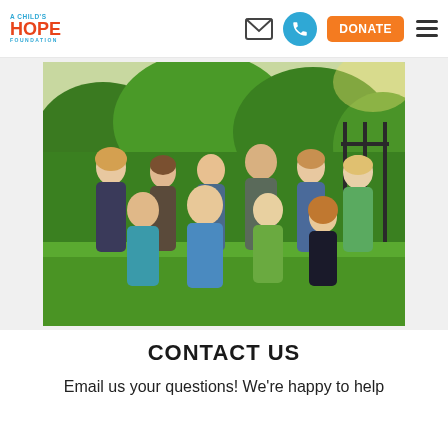A Child's Hope Foundation — header with logo, email icon, phone icon, DONATE button, hamburger menu
[Figure (photo): Group photo of approximately 10 staff/volunteers posing outdoors on grass in front of green bushes and a fence. People are wearing casual clothing including blue, green, and grey shirts.]
CONTACT US
Email us your questions! We're happy to help